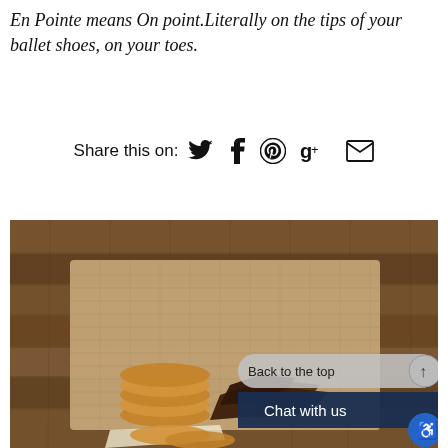En Pointe means On point.Literally on the tips of your ballet shoes, on your toes.
Share this on: [Twitter] [Facebook] [Pinterest] [Google+] [Email]
[Figure (photo): A wicker basket filled with cookies and brownies on a wooden plank background, with 'Back to the top' button and 'Chat with us' overlay in the lower right.]